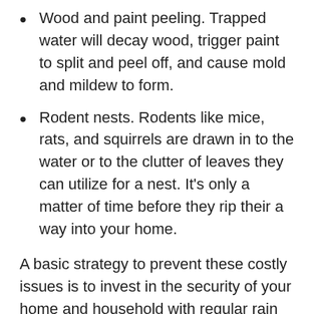Wood and paint peeling. Trapped water will decay wood, trigger paint to split and peel off, and cause mold and mildew to form.
Rodent nests. Rodents like mice, rats, and squirrels are drawn in to the water or to the clutter of leaves they can utilize for a nest. It's only a matter of time before they rip their a way into your home.
A basic strategy to prevent these costly issues is to invest in the security of your home and household with regular rain gutter cleaning services from We Get Gutters Clean Ladera Ranch. Regular two times a year cleaning is very economical compared to handling any of these